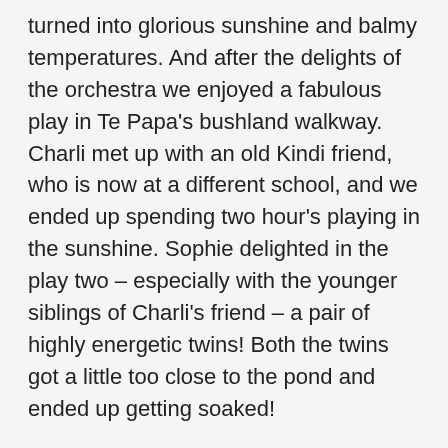turned into glorious sunshine and balmy temperatures. And after the delights of the orchestra we enjoyed a fabulous play in Te Papa's bushland walkway. Charli met up with an old Kindi friend, who is now at a different school, and we ended up spending two hour's playing in the sunshine. Sophie delighted in the play two – especially with the younger siblings of Charli's friend – a pair of highly energetic twins! Both the twins got a little too close to the pond and ended up getting soaked!
After all the fun we raced on home so I could get ready for my night out! The girls were brilliant for their Daddy. I was a dirty stop-out and arrived home around 1am to find Dan asleep with Sophie (she'd woken asking for me – but was good as gold for her Daddy and went back to sleep – and he decided to give up waiting for me to crawl home and join her in slumber land!). Needless to say I had a fabulous evening, officially starting off with a 30th